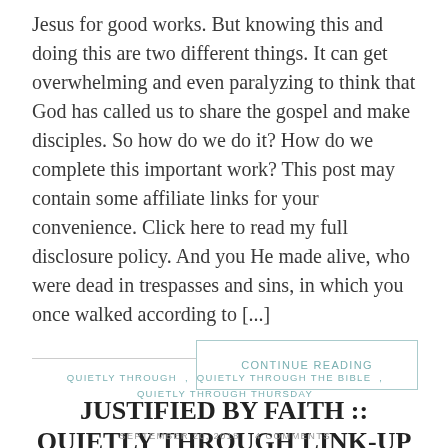Jesus for good works. But knowing this and doing this are two different things. It can get overwhelming and even paralyzing to think that God has called us to share the gospel and make disciples. So how do we do it? How do we complete this important work? This post may contain some affiliate links for your convenience. Click here to read my full disclosure policy. And you He made alive, who were dead in trespasses and sins, in which you once walked according to [...]
CONTINUE READING
QUIETLY THROUGH , QUIETLY THROUGH THE BIBLE , QUIETLY THROUGH THURSDAY
JUSTIFIED BY FAITH :: QUIETLY THROUGH LINK-UP #34
SEPTEMBER 20, 2018   4 COMMENTS